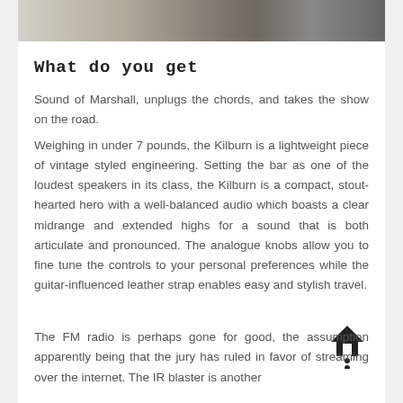[Figure (photo): Partial view of a speaker or audio device wheel/dial and dark background, cropped at top of page]
What do you get
Sound of Marshall, unplugs the chords, and takes the show on the road.
Weighing in under 7 pounds, the Kilburn is a lightweight piece of vintage styled engineering. Setting the bar as one of the loudest speakers in its class, the Kilburn is a compact, stout-hearted hero with a well-balanced audio which boasts a clear midrange and extended highs for a sound that is both articulate and pronounced. The analogue knobs allow you to fine tune the controls to your personal preferences while the guitar-influenced leather strap enables easy and stylish travel.
The FM radio is perhaps gone for good, the assumption apparently being that the jury has ruled in favor of streaming over the internet. The IR blaster is another